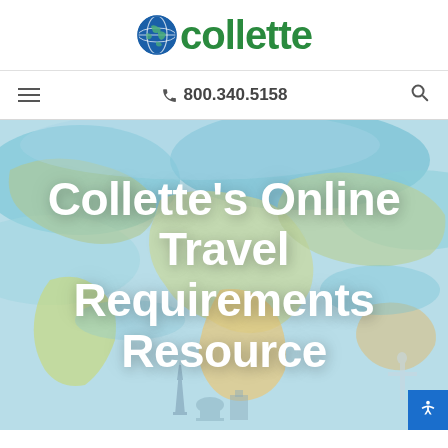[Figure (logo): Collette travel company logo: globe icon followed by green text 'collette']
☰  📞 800.340.5158  🔍
[Figure (illustration): Watercolor world map illustration with landmarks (Eiffel Tower, Christ the Redeemer, etc.) as hero banner background]
Collette's Online Travel Requirements Resource